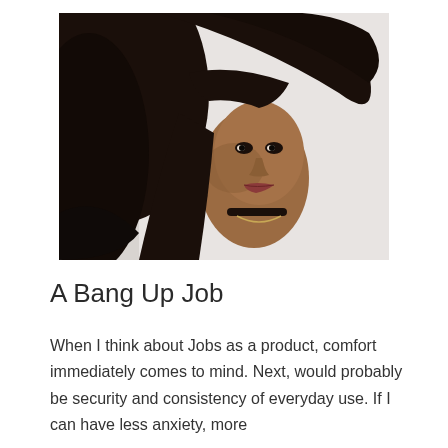[Figure (photo): Close-up photo of a woman with dark flowing hair leaning forward, wearing a black outfit and jewelry, styled dramatically against a light background.]
A Bang Up Job
When I think about Jobs as a product, comfort immediately comes to mind. Next, would probably be security and consistency of everyday use. If I can have less anxiety, more